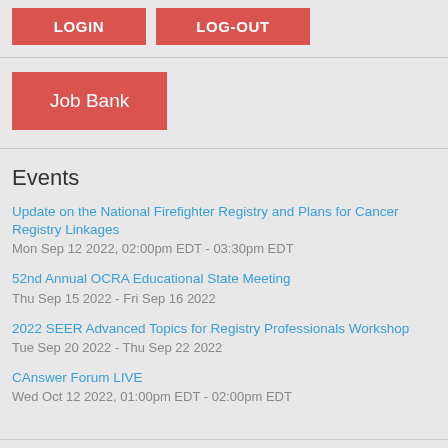[Figure (screenshot): Two red buttons labeled LOGIN and LOG-OUT side by side]
[Figure (screenshot): Red button labeled Job Bank]
Events
Update on the National Firefighter Registry and Plans for Cancer Registry Linkages
Mon Sep 12 2022, 02:00pm EDT - 03:30pm EDT
52nd Annual OCRA Educational State Meeting
Thu Sep 15 2022 - Fri Sep 16 2022
2022 SEER Advanced Topics for Registry Professionals Workshop
Tue Sep 20 2022 - Thu Sep 22 2022
CAnswer Forum LIVE
Wed Oct 12 2022, 01:00pm EDT - 02:00pm EDT